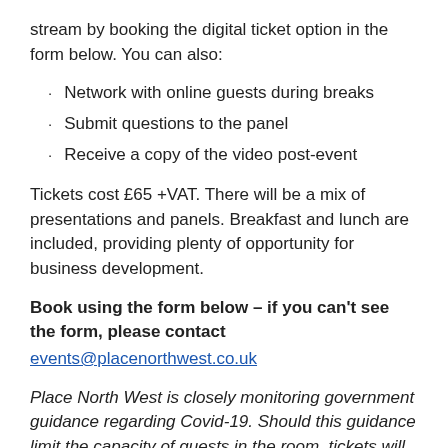stream by booking the digital ticket option in the form below. You can also:
Network with online guests during breaks
Submit questions to the panel
Receive a copy of the video post-event
Tickets cost £65 +VAT. There will be a mix of presentations and panels. Breakfast and lunch are included, providing plenty of opportunity for business development.
Book using the form below – if you can't see the form, please contact events@placenorthwest.co.uk
Place North West is closely monitoring government guidance regarding Covid-19. Should this guidance limit the capacity of guests in the room, tickets will